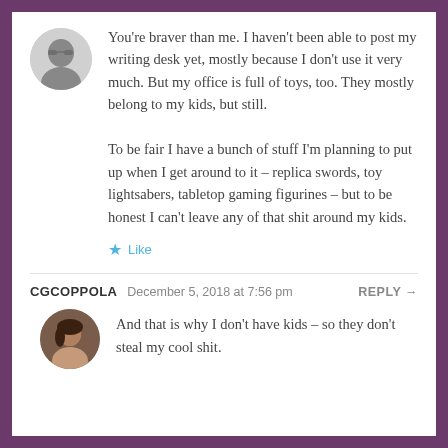You're braver than me. I haven't been able to post my writing desk yet, mostly because I don't use it very much. But my office is full of toys, too. They mostly belong to my kids, but still.

To be fair I have a bunch of stuff I'm planning to put up when I get around to it – replica swords, toy lightsabers, tabletop gaming figurines – but to be honest I can't leave any of that shit around my kids.
Like
CGCOPPOLA  December 5, 2018 at 7:56 pm  REPLY →
And that is why I don't have kids – so they don't steal my cool shit.